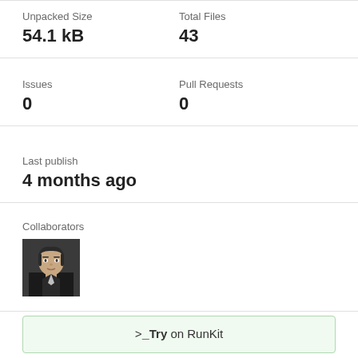Unpacked Size: 54.1 kB
Total Files: 43
Issues: 0
Pull Requests: 0
Last publish: 4 months ago
Collaborators
[Figure (photo): Collaborator avatar photo of a person]
>_Try on RunKit